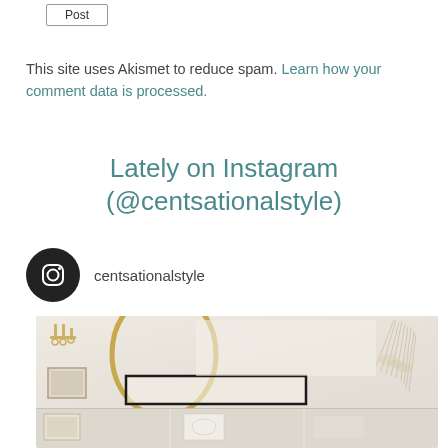[Figure (screenshot): Post button — a rectangular button with border labeled 'Post']
This site uses Akismet to reduce spam. Learn how your comment data is processed.
Lately on Instagram (@centsationalstyle)
[Figure (logo): Instagram icon (camera icon) in a dark circle, followed by username 'centsationalstyle']
[Figure (photo): Interior home decor photo showing a gold circular mirror, chandelier, framed artwork, and pampas grass against a light wall, with a bottom row of smaller thumbnail images]